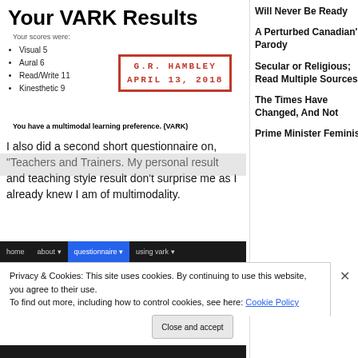Your VARK Results
Your scores were:
Visual 5
Aural 6
Read/Write 11
Kinesthetic 9
[Figure (other): Red bordered stamp reading G.R. HAMBLEY APRIL 13, 2018]
You have a multimodal learning preference. (VARK)
I also did a second short questionnaire on, “Teachers and Trainers. My personal result and teaching style result don’t surprise me as I already knew I am of multimodality.
[Figure (screenshot): Navigation bar with items: home, about, questionnaire (active/blue), using vark]
Privacy & Cookies: This site uses cookies. By continuing to use this website, you agree to their use.
To find out more, including how to control cookies, see here: Cookie Policy
Close and accept
Will Never Be Ready
A Perturbed Canadian’s Parody
Secular or Religious; Read Multiple Sources
The Times Have Changed, And Not
Prime Minister Feminist